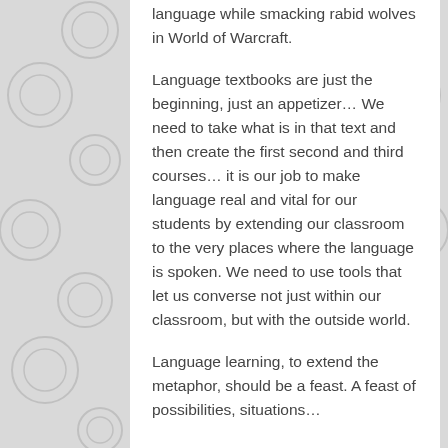language while smacking rabid wolves in World of Warcraft.
Language textbooks are just the beginning, just an appetizer… We need to take what is in that text and then create the first second and third courses… it is our job to make language real and vital for our students by extending our classroom to the very places where the language is spoken. We need to use tools that let us converse not just within our classroom, but with the outside world.
Language learning, to extend the metaphor, should be a feast. A feast of possibilities, situations…